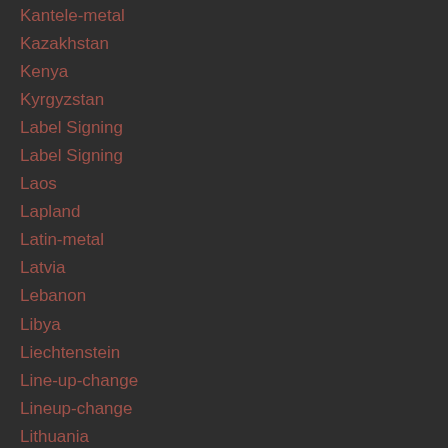Kantele-metal
Kazakhstan
Kenya
Kyrgyzstan
Label Signing
Label Signing
Laos
Lapland
Latin-metal
Latvia
Lebanon
Libya
Liechtenstein
Line-up-change
Lineup-change
Lithuania
Live-album
Live-footage
Live-stream
Live-video
Love-metal